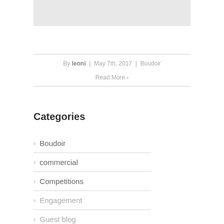[Figure (photo): Gray placeholder image at top of page]
By leoni | May 7th, 2017 | Boudoir
Read More >
Categories
Boudoir
commercial
Competitions
Engagement
Guest blog